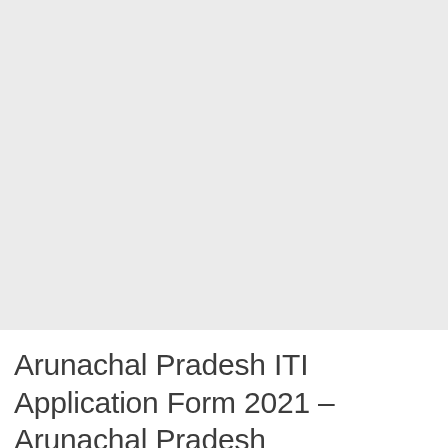[Figure (other): Large blank/placeholder image area with light grey background]
Arunachal Pradesh ITI Application Form 2021 – Arunachal Pradesh